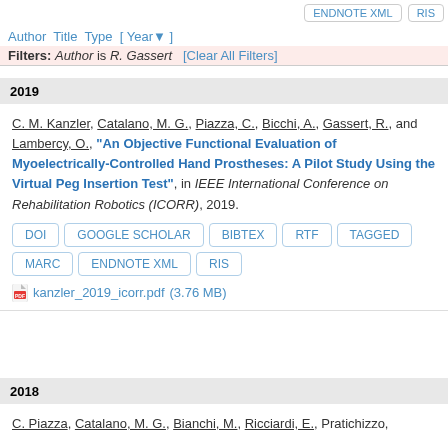ENDNOTE XML   RIS
Author Title Type [ Year▼ ]
Filters: Author is R. Gassert   [Clear All Filters]
2019
C. M. Kanzler, Catalano, M. G., Piazza, C., Bicchi, A., Gassert, R., and Lambercy, O., "An Objective Functional Evaluation of Myoelectrically-Controlled Hand Prostheses: A Pilot Study Using the Virtual Peg Insertion Test", in IEEE International Conference on Rehabilitation Robotics (ICORR), 2019.
DOI   GOOGLE SCHOLAR   BIBTEX   RTF   TAGGED   MARC   ENDNOTE XML   RIS
kanzler_2019_icorr.pdf (3.76 MB)
2018
C. Piazza, Catalano, M. G., Bianchi, M., Ricciardi, E., Pratichizzo,